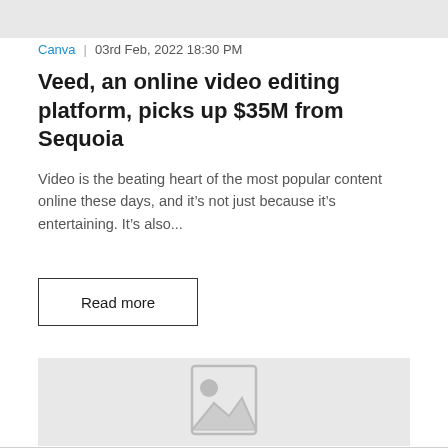[Figure (other): Gray image placeholder strip at top of page]
Canva | 03rd Feb, 2022 18:30 PM
Veed, an online video editing platform, picks up $35M from Sequoia
Video is the beating heart of the most popular content online these days, and it&#8217;s not just because it&#8217;s entertaining. It&#8217;s also...
Read more
[Figure (photo): Gray placeholder image area with image icon in the center]